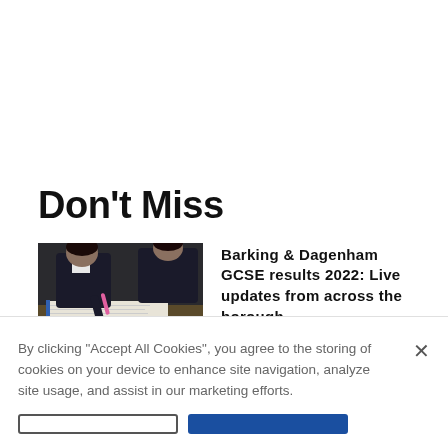Don't Miss
[Figure (photo): Students in school uniforms sitting at desks, writing/studying, one holding a pink pen]
Barking & Dagenham GCSE results 2022: Live updates from across the borough
By clicking "Accept All Cookies", you agree to the storing of cookies on your device to enhance site navigation, analyze site usage, and assist in our marketing efforts.